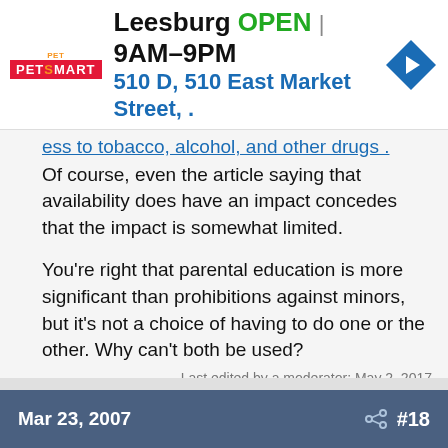[Figure (screenshot): PetSmart advertisement banner showing Leesburg store OPEN 9AM-9PM, 510 D, 510 East Market Street, with navigation arrow diamond icon]
ess to tobacco, alcohol, and other drugs . Of course, even the article saying that availability does have an impact concedes that the impact is somewhat limited.
You're right that parental education is more significant than prohibitions against minors, but it's not a choice of having to do one or the other. Why can't both be used?
Last edited by a moderator: May 2, 2017
Mar 23, 2007   #18